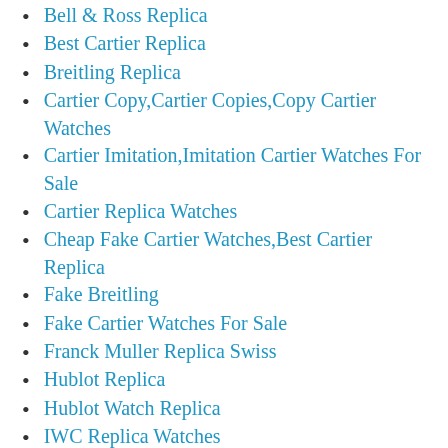Bell & Ross Replica
Best Cartier Replica
Breitling Replica
Cartier Copy,Cartier Copies,Copy Cartier Watches
Cartier Imitation,Imitation Cartier Watches For Sale
Cartier Replica Watches
Cheap Fake Cartier Watches,Best Cartier Replica
Fake Breitling
Fake Cartier Watches For Sale
Franck Muller Replica Swiss
Hublot Replica
Hublot Watch Replica
IWC Replica Watches
Omega Replica